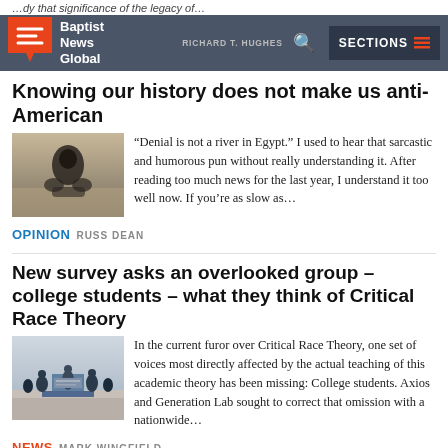Baptist News Global | SECTIONS
Knowing our history does not make us anti-American
[Figure (photo): Person kneeling with head down on sandy ground, viewed from above]
“Denial is not a river in Egypt.” I used to hear that sarcastic and humorous pun without really understanding it. After reading too much news for the last year, I understand it too well now. If you’re as slow as…
OPINION  RUSS DEAN
New survey asks an overlooked group – college students – what they think of Critical Race Theory
[Figure (photo): Group of people standing at a podium outdoors, likely at a press conference or political event]
In the current furor over Critical Race Theory, one set of voices most directly affected by the actual teaching of this academic theory has been missing: College students. Axios and Generation Lab sought to correct that omission with a nationwide…
NEWS  MARK WINGFIELD